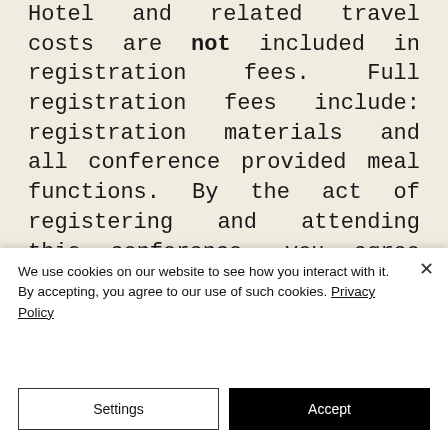Hotel and related travel costs are not included in registration fees. Full registration fees include: registration materials and all conference provided meal functions. By the act of registering and attending this conference, you agree that Conference Management shall acquire the right to use your name, photograph, video recording, and/or audio recording in reporting on the conference in their publications or website, in
We use cookies on our website to see how you interact with it. By accepting, you agree to our use of such cookies. Privacy Policy
Settings
Accept